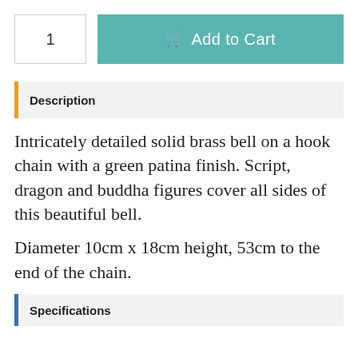1
Add to Cart
Description
Intricately detailed solid brass bell on a hook chain with a green patina finish. Script, dragon and buddha figures cover all sides of this beautiful bell.

Diameter 10cm x 18cm height, 53cm to the end of the chain.
Specifications